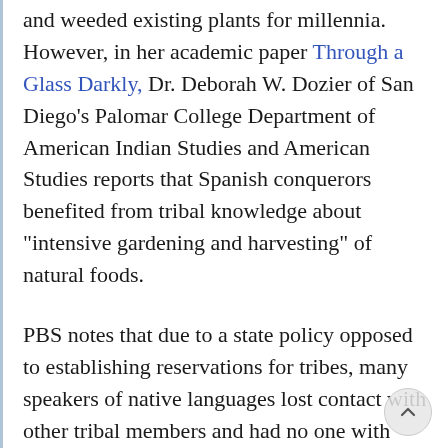and weeded existing plants for millennia. However, in her academic paper Through a Glass Darkly, Dr. Deborah W. Dozier of San Diego's Palomar College Department of American Indian Studies and American Studies reports that Spanish conquerors benefited from tribal knowledge about "intensive gardening and harvesting" of natural foods.
PBS notes that due to a state policy opposed to establishing reservations for tribes, many speakers of native languages lost contact with other tribal members and had no one with whom to speak their language. In 1970, the last native speaker of the Tongva language